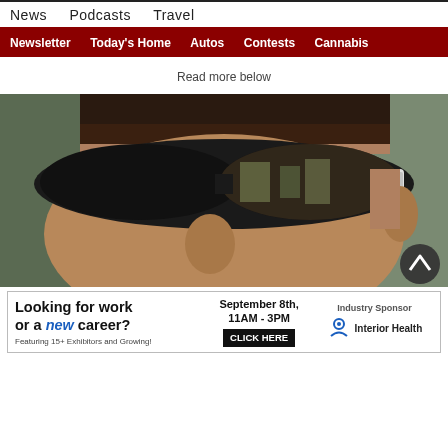News  Podcasts  Travel
Newsletter  Today's Home  Autos  Contests  Cannabis
Read more below
[Figure (photo): Close-up photo of a man wearing large dark wraparound sunglasses with white/silver frames. The reflection of buildings and trees is visible in the lenses. The man's face from forehead to nose and his right ear are visible.]
[Figure (infographic): Advertisement banner: 'Looking for work or a new career? Featuring 15+ Exhibitors and Growing! September 8th, 11AM - 3PM CLICK HERE. Industry Sponsor: Interior Health']